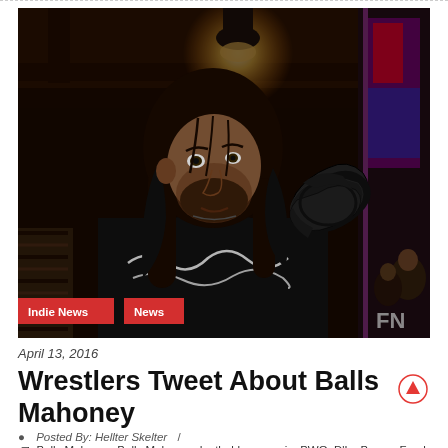[Figure (photo): A large man with long dark hair and a beard wearing a black sleeveless shirt with a tribal tattoo on his right arm, standing under a warm indoor light in a dark venue. Category tags 'Indie News' and 'News' are overlaid at the bottom left of the photo.]
April 13, 2016
Wrestlers Tweet About Balls Mahoney
Posted By: Hellter Skelter  /
Balls Mahoney, Balls Mahoney death, blue meanie, BWO, D'Lo Brown, Frankie